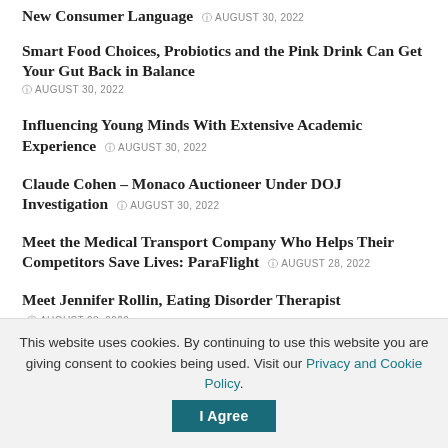New Consumer Language  AUGUST 30, 2022
Smart Food Choices, Probiotics and the Pink Drink Can Get Your Gut Back in Balance  AUGUST 30, 2022
Influencing Young Minds With Extensive Academic Experience  AUGUST 30, 2022
Claude Cohen – Monaco Auctioneer Under DOJ Investigation  AUGUST 30, 2022
Meet the Medical Transport Company Who Helps Their Competitors Save Lives: ParaFlight  AUGUST 28, 2022
Meet Jennifer Rollin, Eating Disorder Therapist  AUGUST 28, 2022
Spying on iPhone with Just the Number
This website uses cookies. By continuing to use this website you are giving consent to cookies being used. Visit our Privacy and Cookie Policy.